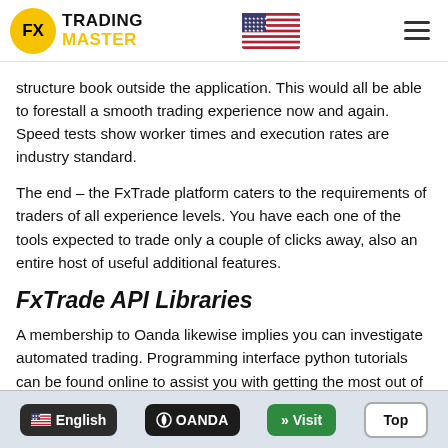FX Trading Master
structure book outside the application. This would all be able to forestall a smooth trading experience now and again. Speed tests show worker times and execution rates are industry standard.
The end – the FxTrade platform caters to the requirements of traders of all experience levels. You have each one of the tools expected to trade only a couple of clicks away, also an entire host of useful additional features.
FxTrade API Libraries
A membership to Oanda likewise implies you can investigate automated trading. Programming interface python tutorials can be found online to assist you with getting the most out of your Programming interface
English | OANDA | » Visit | Top